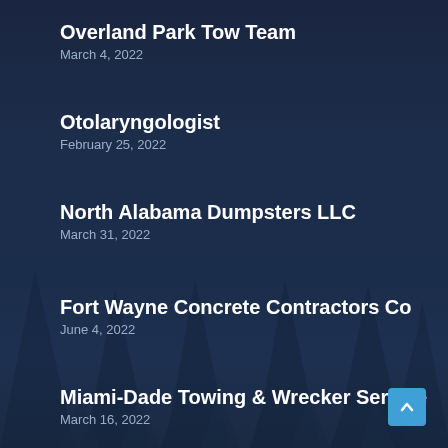Overland Park Tow Team
March 4, 2022
Otolaryngologist
February 25, 2022
North Alabama Dumpsters LLC
March 31, 2022
Fort Wayne Concrete Contractors Co
June 4, 2022
Miami-Dade Towing & Wrecker Service
March 16, 2022